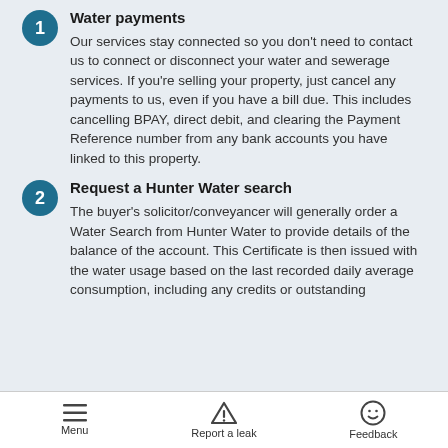Water payments
Our services stay connected so you don't need to contact us to connect or disconnect your water and sewerage services. If you're selling your property, just cancel any payments to us, even if you have a bill due. This includes cancelling BPAY, direct debit, and clearing the Payment Reference number from any bank accounts you have linked to this property.
Request a Hunter Water search
The buyer's solicitor/conveyancer will generally order a Water Search from Hunter Water to provide details of the balance of the account. This Certificate is then issued with the water usage based on the last recorded daily average consumption, including any credits or outstanding
Menu   Report a leak   Feedback